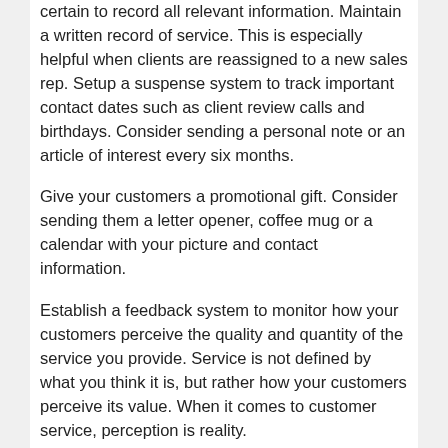certain to record all relevant information. Maintain a written record of service. This is especially helpful when clients are reassigned to a new sales rep. Setup a suspense system to track important contact dates such as client review calls and birthdays. Consider sending a personal note or an article of interest every six months.
Give your customers a promotional gift. Consider sending them a letter opener, coffee mug or a calendar with your picture and contact information.
Establish a feedback system to monitor how your customers perceive the quality and quantity of the service you provide. Service is not defined by what you think it is, but rather how your customers perceive its value. When it comes to customer service, perception is reality.
Progressive companies emphasise commitment to customer service from the top down by establishing training standards and continuously monitoring customer satisfaction.